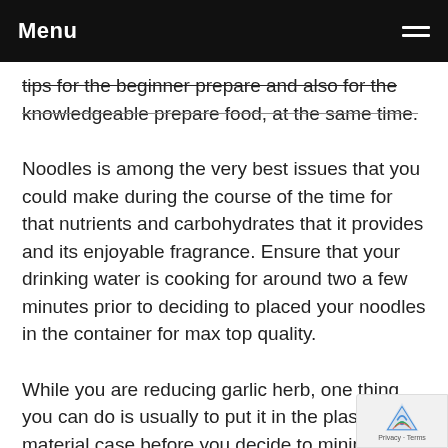Menu
tips for the beginner prepare and also for the knowledgeable prepare food, at the same time.
Noodles is among the very best issues that you could make during the course of the time for that nutrients and carbohydrates that it provides and its enjoyable fragrance. Ensure that your drinking water is cooking for around two a few minutes prior to deciding to placed your noodles in the container for max top quality.
While you are reducing garlic herb, one thing you can do is usually to put it in the plastic material case before you decide to minimize. Then, slice the garlic cloves